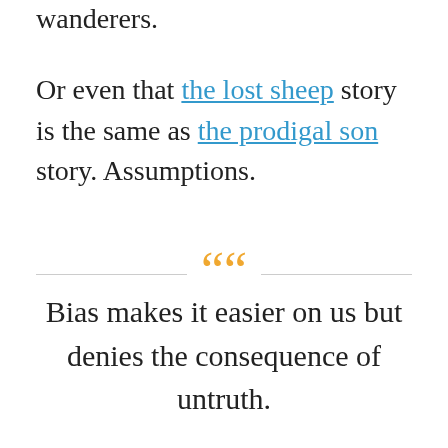wanderers.
Or even that the lost sheep story is the same as the prodigal son story. Assumptions.
““ Bias makes it easier on us but denies the consequence of untruth.